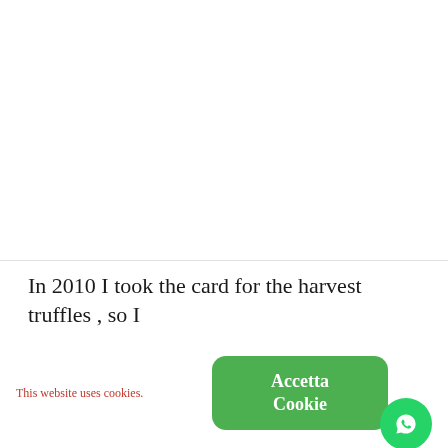In 2010 I took the card for the harvest truffles , so I
This website uses cookies.
[Figure (other): Green rounded button labeled 'Accetta Cookie' with a WhatsApp icon circle on the right]